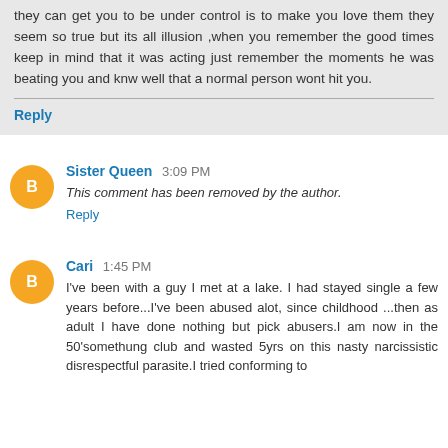they can get you to be under control is to make you love them they seem so true but its all illusion ,when you remember the good times keep in mind that it was acting just remember the moments he was beating you and knw well that a normal person wont hit you.
Reply
Sister Queen 3:09 PM
This comment has been removed by the author.
Reply
Cari 1:45 PM
I've been with a guy I met at a lake. I had stayed single a few years before...I've been abused alot, since childhood ...then as adult I have done nothing but pick abusers.I am now in the 50'somethung club and wasted 5yrs on this nasty narcissistic disrespectful parasite.I tried conforming to